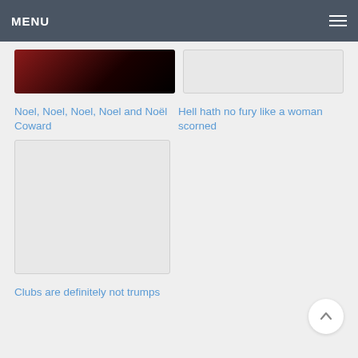MENU
[Figure (photo): Partially visible dark red and black image thumbnail (top of card, cropped)]
Noel, Noel, Noel, Noel and Noël Coward
[Figure (photo): Light grey image thumbnail placeholder]
Hell hath no fury like a woman scorned
[Figure (photo): Light grey image thumbnail placeholder, taller card]
Clubs are definitely not trumps